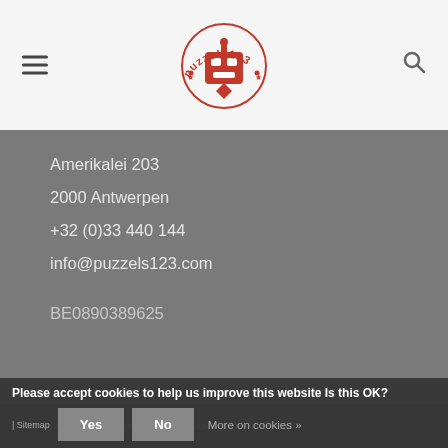puzzels123 logo, hamburger menu, search icon
Amerikalei 203
2000 Antwerpen
+32 (0)33 440 144
info@puzzels123.com
BE0890389625
© Copyright 2022 - Powered by Lightspeed - Theme By DMWS x Plus+ | RSS feed | Sitemap
Please accept cookies to help us improve this website Is this OK?
Yes
No
More on cookies »